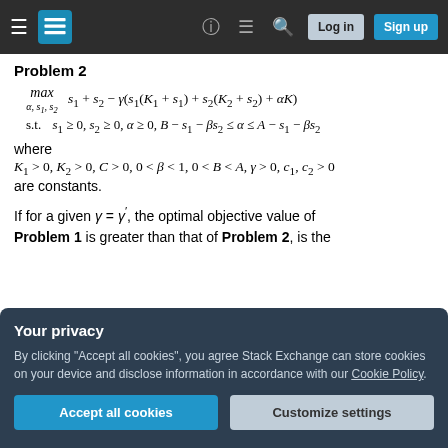Stack Exchange navigation bar with Log in and Sign up buttons
Problem 2
where
are constants.
If for a given γ = γ', the optimal objective value of Problem 1 is greater than that of Problem 2, is the
Your privacy
By clicking "Accept all cookies", you agree Stack Exchange can store cookies on your device and disclose information in accordance with our Cookie Policy.
two (derivative with respect to γ yields lower value